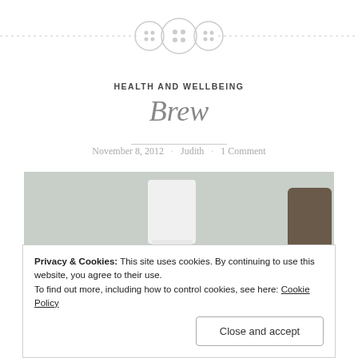[Figure (illustration): Decorative blog header with three button icons on a dashed horizontal line]
HEALTH AND WELLBEING
Brew
November 8, 2012 · Judith · 1 Comment
[Figure (photo): Photo showing what appears to be a white ceramic cup or object and another object on the right, partially cut off]
Privacy & Cookies: This site uses cookies. By continuing to use this website, you agree to their use.
To find out more, including how to control cookies, see here: Cookie Policy
Close and accept